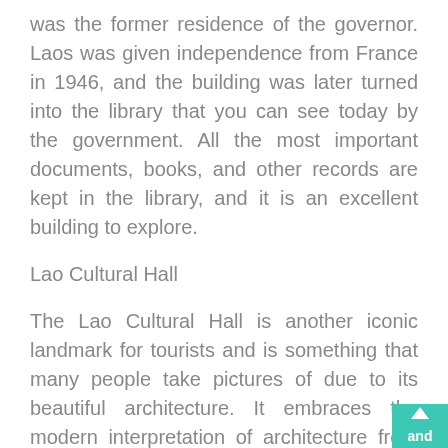was the former residence of the governor. Laos was given independence from France in 1946, and the building was later turned into the library that you can see today by the government. All the most important documents, books, and other records are kept in the library, and it is an excellent building to explore.
Lao Cultural Hall
The Lao Cultural Hall is another iconic landmark for tourists and is something that many people take pictures of due to its beautiful architecture. It embraces the modern interpretation of architecture from Laos and